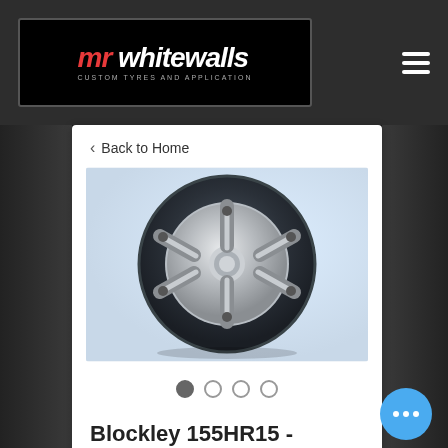[Figure (logo): Mr Whitewalls logo — white italic graffiti-style text on black background with red car graphic and subtitle 'Custom Tyres and Application']
< Back to Home
[Figure (photo): Front-facing view of a classic car tire mounted on a chrome/silver multi-spoke steel wheel against a light blue-white background]
Blockley 155HR15 - Choose your own stripe width and